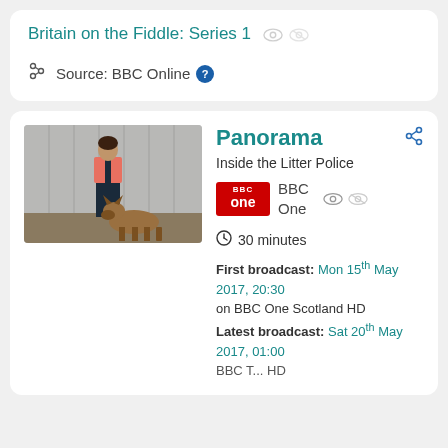Britain on the Fiddle: Series 1
Source: BBC Online
[Figure (photo): Woman in pink and black jacket standing next to a German Shepherd dog in front of a grey corrugated wall]
Panorama
Inside the Litter Police
BBC One
30 minutes
First broadcast: Mon 15th May 2017, 20:30 on BBC One Scotland HD
Latest broadcast: Sat 20th May 2017, 01:00 BBC T... HD